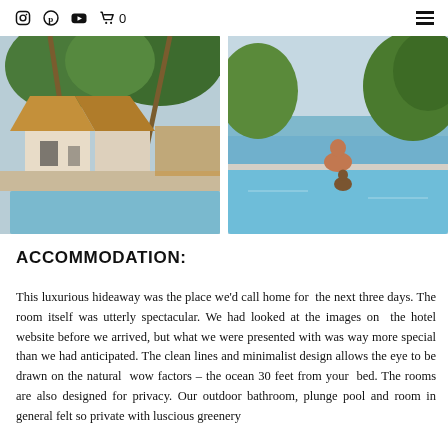Social media icons: Instagram, Pinterest, YouTube, Cart (0), Hamburger menu
[Figure (photo): Left photo: tropical resort villa with thatched-roof bungalows, palm trees, and a private plunge pool in the foreground]
[Figure (photo): Right photo: woman in red bikini sitting at the edge of an infinity pool overlooking the ocean, surrounded by tropical greenery]
ACCOMMODATION:
This luxurious hideaway was the place we'd call home for the next three days. The room itself was utterly spectacular. We had looked at the images on the hotel website before we arrived, but what we were presented with was way more special than we had anticipated. The clean lines and minimalist design allows the eye to be drawn on the natural wow factors – the ocean 30 feet from your bed. The rooms are also designed for privacy. Our outdoor bathroom, plunge pool and room in general felt so private with luscious greenery